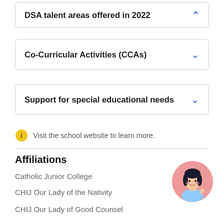DSA talent areas offered in 2022
Co-Curricular Activities (CCAs)
Support for special educational needs
Visit the school website to learn more.
Affiliations
Catholic Junior College
CHIJ Our Lady of the Nativity
CHIJ Our Lady of Good Counsel
[Figure (illustration): Circular avatar of a cartoon girl with dark hair wearing a light blue top, on a pink/salmon background circle]